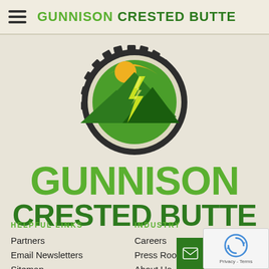GUNNISON CRESTED BUTTE
[Figure (logo): Gunnison Crested Butte gear/cog logo with green mountain and lightning bolt design]
GUNNISON CRESTED BUTTE
HELPFUL LINKS
INDUSTRY
Partners
Careers
Email Newsletters
Press Room
Sitemap
About Us